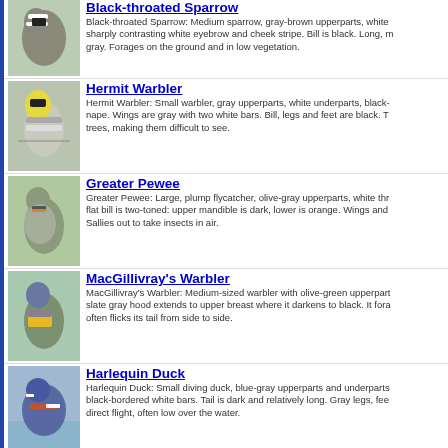Black-throated Sparrow: Black-throated Sparrow: Medium sparrow, gray-brown upperparts, white sharply contrasting white eyebrow and cheek stripe. Bill is black. Long, gray. Forages on the ground and in low vegetation.
Hermit Warbler: Hermit Warbler: Small warbler, gray upperparts, white underparts, black- nape. Wings are gray with two white bars. Bill, legs and feet are black. T trees, making them difficult to see.
Greater Pewee: Greater Pewee: Large, plump flycatcher, olive-gray upperparts, white thr flat bill is two-toned: upper mandible is dark, lower is orange. Wings and Sallies out to take insects in air.
MacGillivray's Warbler: MacGillivray's Warbler: Medium-sized warbler with olive-green upperpart slate gray hood extends to upper breast where it darkens to black. It fora often flicks its tail from side to side.
Harlequin Duck: Harlequin Duck: Small diving duck, blue-gray upperparts and underparts black-bordered white bars. Tail is dark and relatively long. Gray legs, fee direct flight, often low over the water.
Sprague's Pipit: Sprague's Pipit: Medium pipit with streaked, brown upperparts, buff brea brown with white edges. Thin, pale bill. Legs are yellow to pale brown. Its difficult to spot.
Vermilion Flycatcher: Vermilion Flycatcher: Small, stocky flycatcher, gray-black upperparts and black eye-line. Wings and tail are gray-black; tail has thin white tip.